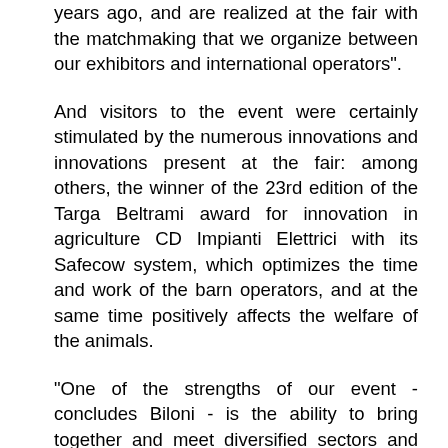years ago, and are realized at the fair with the matchmaking that we organize between our exhibitors and international operators".
And visitors to the event were certainly stimulated by the numerous innovations and innovations present at the fair: among others, the winner of the 23rd edition of the Targa Beltrami award for innovation in agriculture CD Impianti Elettrici with its Safecow system, which optimizes the time and work of the barn operators, and at the same time positively affects the welfare of the animals.
"One of the strengths of our event - concludes Biloni - is the ability to bring together and meet diversified sectors and interests in Cremona, also and above all thanks to a program of events and initiatives that address all the most current issues of agriculture, animal husbandry and agri-food. This allows us to be a strategic meeting point, where business is developed, but which also represents a hotbed of innovative ideas. We also try to